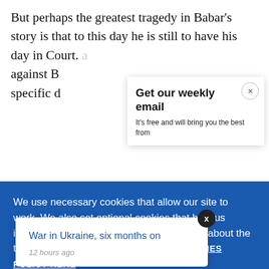But perhaps the greatest tragedy in Babar's story is that to this day he is still to have his day in Court. against B specific d
[Figure (screenshot): Email newsletter subscription modal popup with title 'Get our weekly email' and subtitle 'It's free and will bring you the best from', with an X close button]
[Figure (screenshot): Cookie consent banner in blue background: 'We use necessary cookies that allow our site to work. We also set optional cookies that help us improve our website. For more information about the types of cookies we use. READ OUR COOKIES POLICY HERE' with COOKIE and ALLOW buttons]
[Figure (screenshot): Notification popup with link 'War in Ukraine, six months on' and timestamp '12 hours ago' with X close button]
basis of h
data.